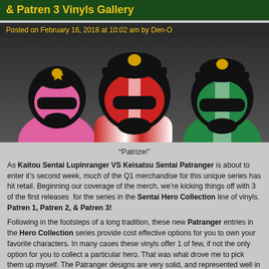& Patren 3 Vinyls Gallery
Posted on February 16, 2018 at 10:02 am by Den-O
[Figure (photo): Three Patranger vinyl figures: pink (left), red (center), and green (right), each wearing police-style helmets with gold badges]
“Patrize!”
As Kaitou Sentai Lupinranger VS Keisatsu Sentai Patranger is about to enter it’s second week, much of the Q1 merchandise for this unique series has hit retail. Beginning our coverage of the merch, we’re kicking things off with 3 of the first releases for the series in the Sentai Hero Collection line of vinyls. Patren 1, Patren 2, & Patren 3!
Following in the footsteps of a long tradition, these new Patranger entries in the Hero Collection series provide cost effective options for you to own your favorite characters. In many cases these vinyls offer 1 of few, if not the only option for you to collect a particular hero. That was what drove me to pick them up myself. The Patranger designs are very solid, and represented well in this line. Vinyls may not do much, but as static display pieces they do just the trick. Which is exactly why I’ll also be picking up Patren Ugo in a few weeks.
We’ve attached the full 40 image gallery to this post, but you can also